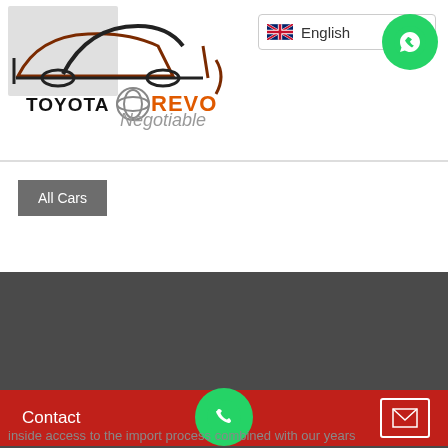[Figure (logo): Toyota Revo car dealer logo with silhouette of SUV, Toyota logo, text TOYOTA REVO in black and orange]
English
[Figure (illustration): WhatsApp green circular button with phone icon, top right]
Negotiable
All Cars
About Us
Our service is a very cost effective way to buy a vehicle as you only pay the actual cost plus our low service fee.
Contact
inside access to the import process combined with our years